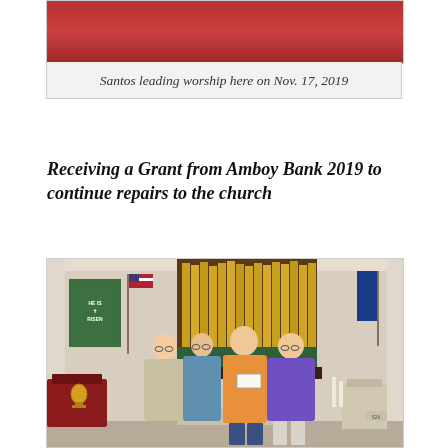[Figure (photo): Top portion of a photo showing a red-draped altar or stage area inside a church]
Santos leading worship here on Nov. 17, 2019
Receiving a Grant from Amboy Bank 2019 to continue repairs to the church
[Figure (photo): Four people standing together inside a church sanctuary, posing for a photo after receiving a grant check from Amboy Bank. A pipe organ is visible in the background along with church banners, pews, altar area, and candles.]